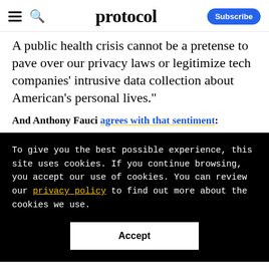protocol — Subscribe
A public health crisis cannot be a pretense to pave over our privacy laws or legitimize tech companies' intrusive data collection about American's personal lives."
And Anthony Fauci agrees with that sentiment:
To give you the best possible experience, this site uses cookies. If you continue browsing, you accept our use of cookies. You can review our privacy policy to find out more about the cookies we use.
Accept